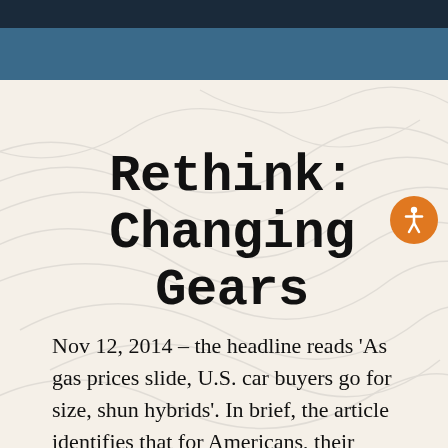Rethink: Changing Gears
Nov 12, 2014 – the headline reads 'As gas prices slide, U.S. car buyers go for size, shun hybrids'. In brief, the article identifies that for Americans, their preference is larger vehicles. A shift to smaller vehicles occurs only when gas